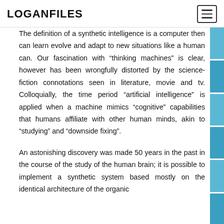LOGANFILES
The definition of a synthetic intelligence is a computer then can learn evolve and adapt to new situations like a human can. Our fascination with “thinking machines” is clear, however has been wrongfully distorted by the science-fiction connotations seen in literature, movie and tv. Colloquially, the time period “artificial intelligence” is applied when a machine mimics “cognitive” capabilities that humans affiliate with other human minds, akin to “studying” and “downside fixing”.
An astonishing discovery was made 50 years in the past in the course of the study of the human brain; it is possible to implement a synthetic system based mostly on the identical architecture of the organic